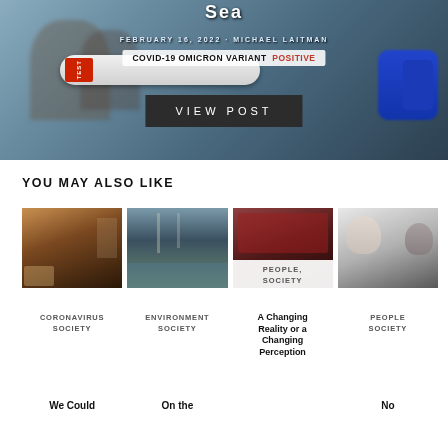[Figure (photo): Hero image of COVID-19 test tube with POSITIVE result, blurred medical worker in background]
Sea
FEBRUARY 16, 2022 · MICHAEL LAITMAN
COVID-19 OMICRON VARIANT POSITIVE
VIEW POST
YOU MAY ALSO LIKE
[Figure (photo): Restaurant scene with masked staff]
[Figure (photo): Flooded street scene]
[Figure (photo): People lying on street in protest with red cloth]
[Figure (photo): Baby and parent in black and white photo]
PEOPLE, SOCIETY
CORONAVIRUS SOCIETY
ENVIRONMENT SOCIETY
A Changing Reality or a Changing Perception
PEOPLE SOCIETY
We Could
On the
No